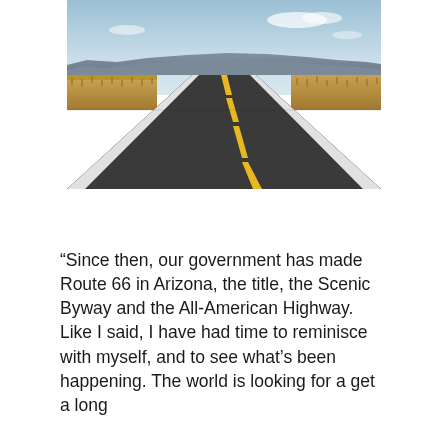[Figure (photo): A long straight road (Route 66) stretching to the horizon through flat desert scrubland, with mesas/cliffs in the background, yellow center lines and white edge lines visible on dark asphalt pavement, under a light blue sky with some clouds.]
“Since then, our government has made Route 66 in Arizona, the title, the Scenic Byway and the All-American Highway. Like I said, I have had time to reminisce with myself, and to see what’s been happening. The world is looking for a get a long...